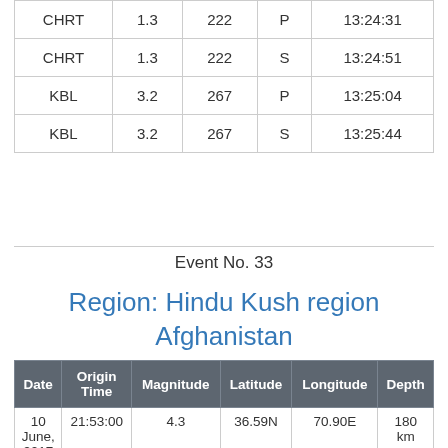|  |  |  |  |  |
| --- | --- | --- | --- | --- |
| CHRT | 1.3 | 222 | P | 13:24:31 |
| CHRT | 1.3 | 222 | S | 13:24:51 |
| KBL | 3.2 | 267 | P | 13:25:04 |
| KBL | 3.2 | 267 | S | 13:25:44 |
Event No. 33
Region: Hindu Kush region Afghanistan
| Date | Origin Time | Magnitude | Latitude | Longitude | Depth |
| --- | --- | --- | --- | --- | --- |
| 10 June, 2017 | 21:53:00 | 4.3 | 36.59N | 70.90E | 180 km |